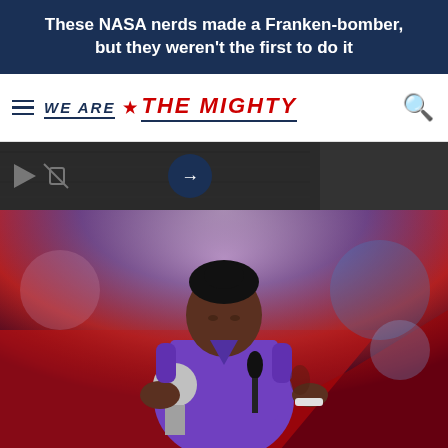These NASA nerds made a Franken-bomber, but they weren't the first to do it
[Figure (logo): We Are The Mighty website logo with hamburger menu and search icon]
[Figure (screenshot): Video strip with play button, mute icon, and arrow navigation button over black and white historical photo background]
[Figure (photo): A woman in a purple dress holding a trophy award at a podium with a microphone at what appears to be an awards ceremony. She is a Black woman with a short haircut, wearing a silver wristband on her right arm. The background shows a stage with red lighting.]
[Figure (photo): Partial bottom strip showing beginning of another photo or content section]